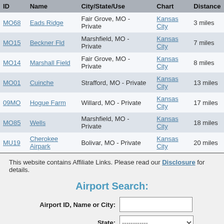| ID | Name | City/State/Use | Chart | Distance |
| --- | --- | --- | --- | --- |
| MO68 | Eads Ridge | Fair Grove, MO - Private | Kansas City | 3 miles |
| MO15 | Beckner Fld | Marshfield, MO - Private | Kansas City | 7 miles |
| MO14 | Marshall Field | Fair Grove, MO - Private | Kansas City | 8 miles |
| MO01 | Cuinche | Strafford, MO - Private | Kansas City | 13 miles |
| 09MO | Hogue Farm | Willard, MO - Private | Kansas City | 17 miles |
| MO85 | Wells | Marshfield, MO - Private | Kansas City | 18 miles |
| MU19 | Cherokee Airpark | Bolivar, MO - Private | Kansas City | 20 miles |
This website contains Affiliate Links. Please read our Disclosure for details.
Airport Search:
Airport ID, Name or City: [input]
State: [dropdown]
Submit